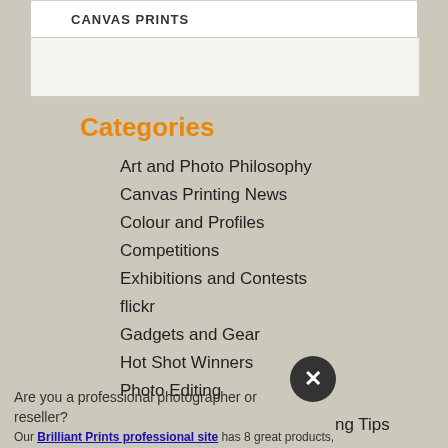CANVAS PRINTS
Categories
Art and Photo Philosophy
Canvas Printing News
Colour and Profiles
Competitions
Exhibitions and Contests
flickr
Gadgets and Gear
Hot Shot Winners
Photo Editing
ng Tips
Are you a professional photographer or reseller?
Our Brilliant Prints professional site has 8 great products, useful resources and wholesale pricing. ABN required.